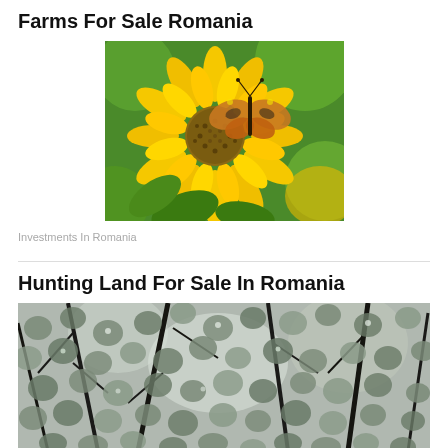Farms For Sale Romania
[Figure (photo): Close-up of a sunflower with a butterfly resting on it, green blurred background]
Investments In Romania
Hunting Land For Sale In Romania
[Figure (photo): Close-up of tree branches with round leaves, light filtering through, dark tones]